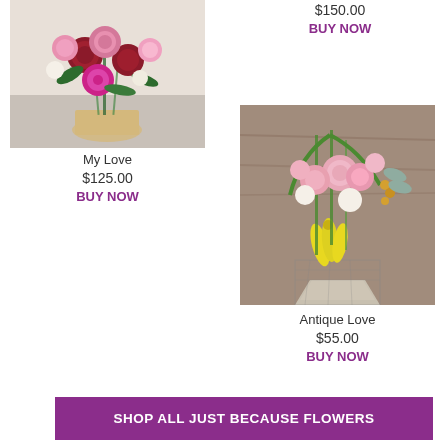[Figure (photo): Floral bouquet with red and pink roses, pink gerbera daisies, and greenery - My Love arrangement]
My Love
$125.00
BUY NOW
$150.00
BUY NOW
[Figure (photo): Floral bouquet with pink roses, white flowers, yellow lilies, and greenery - Antique Love arrangement]
Antique Love
$55.00
BUY NOW
SHOP ALL JUST BECAUSE FLOWERS